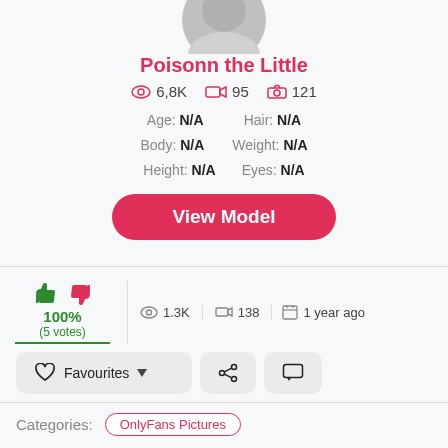[Figure (photo): Partial circular avatar/profile photo, cropped at top, grey tones]
Poisonn the Little
6,8K  95  121
Age: N/A  Hair: N/A  Body: N/A  Weight: N/A  Height: N/A  Eyes: N/A
View Model
100% (5 votes)  1.3K  138  1 year ago
Favourites  [share]  [comment]
Categories: OnlyFans Pictures
Tags: # onlyfans # SiteRip # Poisonn the Little